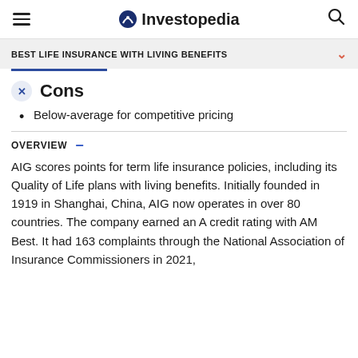Investopedia
BEST LIFE INSURANCE WITH LIVING BENEFITS
Cons
Below-average for competitive pricing
OVERVIEW
AIG scores points for term life insurance policies, including its Quality of Life plans with living benefits. Initially founded in 1919 in Shanghai, China, AIG now operates in over 80 countries. The company earned an A credit rating with AM Best. It had 163 complaints through the National Association of Insurance Commissioners in 2021,